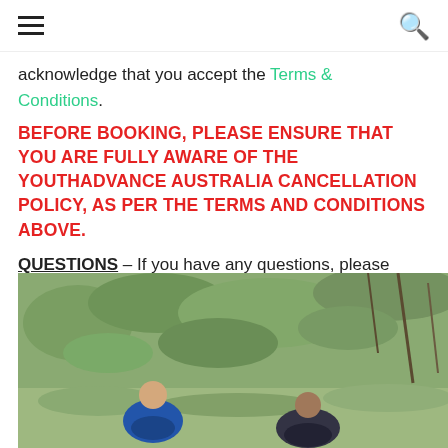≡  🔍
acknowledge that you accept the Terms & Conditions.
BEFORE BOOKING, PLEASE ENSURE THAT YOU ARE FULLY AWARE OF THE YOUTHADVANCE AUSTRALIA CANCELLATION POLICY, AS PER THE TERMS AND CONDITIONS ABOVE.
QUESTIONS – If you have any questions, please contact our team at programs@youthadvance.com.au
[Figure (photo): Children in blue jackets crouching on a hillside with scrubby bush/vegetation in the background, outdoors in nature.]